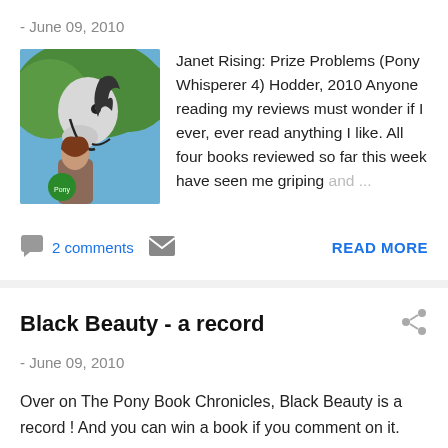- June 09, 2010
Janet Rising: Prize Problems (Pony Whisperer 4) Hodder, 2010 Anyone reading my reviews must wonder if I ever, ever read anything I like. All four books reviewed so far this week have seen me griping and …
2 comments
READ MORE
Black Beauty - a record
- June 09, 2010
Over on The Pony Book Chronicles, Black Beauty is a record ! And you can win a book if you comment on it.